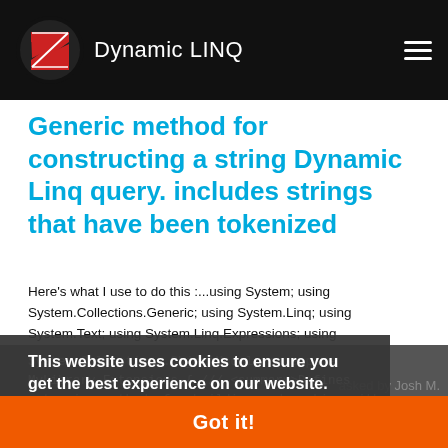Dynamic LINQ
Generic method for constructing a string Dynamic Linq query. includes strings that have been tokenized
Here's what I use to do this :...using System; using System.Collections.Generic; using System.Linq; using System.Text; using System.Linq.Expressions; using System.Collections.ObjectModel; namespace MyLibrary.Extensions { /// <summary>Defines extension methods for building and working with Expressions</summary> public static class Expressio...
dynamic-linq
linq
This website uses cookies to ensure you get the best experience on our website.
Learn more
asked by Josh M.
Got it!